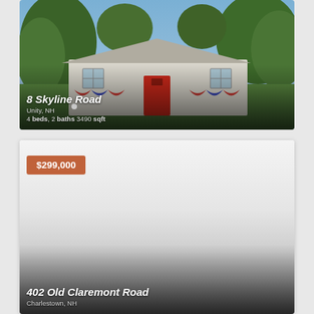[Figure (photo): Exterior photo of a white colonial-style house with a red front door, patriotic bunting, and mature trees. Address overlay shows 8 Skyline Road, Unity, NH, 4 beds, 2 baths, 3490 sqft.]
8 Skyline Road
Unity, NH
4 beds, 2 baths 3490 sqft
[Figure (photo): Partially loaded listing card with price badge $299,000 in terracotta/rust color. Below shows a faded grey gradient placeholder for a second property photo. Bottom overlay shows 402 Old Claremont Road, Charlestown, NH.]
$299,000
402 Old Claremont Road
Charlestown, NH